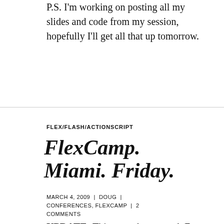P.S. I'm working on posting all my slides and code from my session, hopefully I'll get all that up tomorrow.
FLEX/FLASH/ACTIONSCRIPT
FlexCamp. Miami. Friday.
MARCH 4, 2009 | DOUG | CONFERENCES, FLEXCAMP | 2 COMMENTS
UPDATE: This event has passed. For some reason this post showed up again on the Adobe aggregator. Apologies for that, don't get to